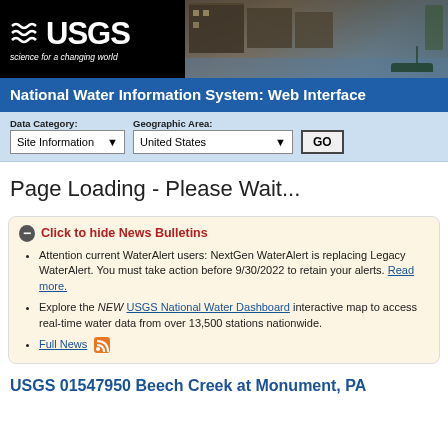[Figure (logo): USGS banner with logo on black background left side and flood photo on right side]
National Water Information System: Web Interface
Data Category: Site Information | Geographic Area: United States | GO
Page Loading - Please Wait...
Click to hide News Bulletins
Attention current WaterAlert users: NextGen WaterAlert is replacing Legacy WaterAlert. You must take action before 9/30/2022 to retain your alerts. Read more.
Explore the NEW USGS National Water Dashboard interactive map to access real-time water data from over 13,500 stations nationwide.
Full News
USGS 01547950 Beech Creek at Monument, PA